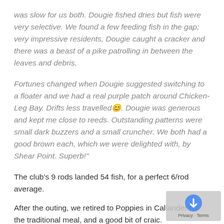was slow for us both.  Dougie fished dries but fish were very selective.  We found a few feeding fish in the gap; very impressive residents,  Dougie caught a cracker and there was a beast of a pike patrolling in between the leaves and debris.
Fortunes changed when Dougie suggested switching to a floater and we had a real purple patch around Chicken-Leg Bay.  Drifts less travelled😊.  Dougie was generous and kept me close to reeds.  Outstanding patterns were small dark buzzers and a small cruncher.  We both had a good brown each, which we were delighted with, by Shear Point.  Superb!"
The club's 9 rods landed 54 fish, for a perfect 6/rod average.
After the outing, we retired to Poppies in Callander for the traditional meal, and a good bit of craic.